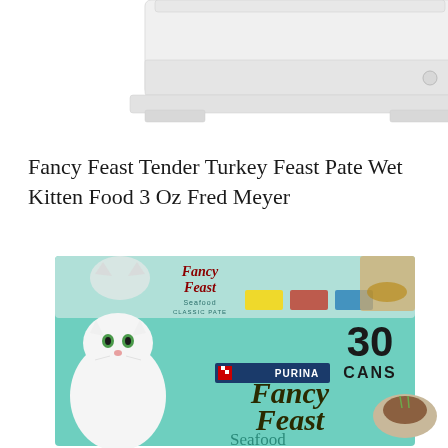[Figure (photo): Partial view of a white product (possibly a printer or appliance) cropped at the top of the page, showing mostly white casing with subtle grey details]
Fancy Feast Tender Turkey Feast Pate Wet Kitten Food 3 Oz Fred Meyer
[Figure (photo): Purina Fancy Feast Seafood Classic Pate variety box containing 30 cans. The box features a white cat on the left, teal/mint color scheme, gold script Fancy Feast logo, Purina logo in red, and text reading '30 CANS', 'Seafood', 'CLASSIC PATÉ'. A small image of cat food in a dish is visible on the right side.]